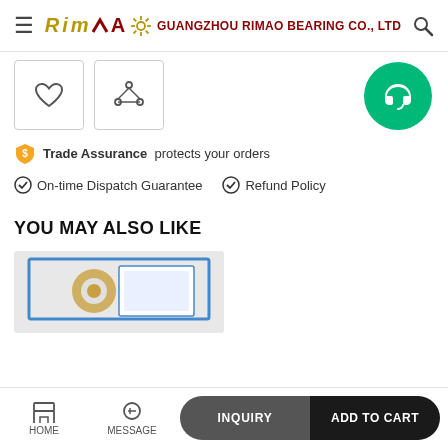GUANGZHOU RIMAO BEARING CO., LTD
[Figure (screenshot): Wishlist and share icon buttons, plus green headset support button]
Trade Assurance protects your orders
On-time Dispatch Guarantee  Refund Policy
YOU MAY ALSO LIKE
[Figure (photo): Product photo showing a bearing in a blue-bordered box packaging]
HOME  MESSAGE  INQUIRY  ADD TO CART